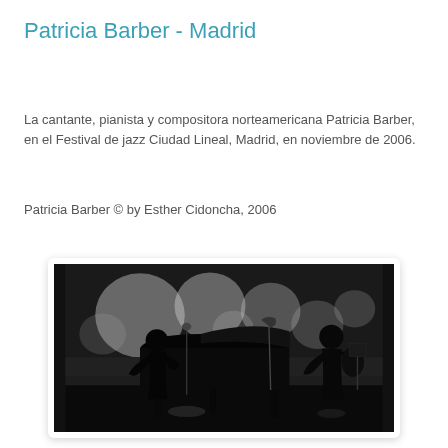Patricia Barber - Madrid
La cantante, pianista y compositora norteamericana Patricia Barber, en el Festival de jazz Ciudad Lineal, Madrid, en noviembre de 2006.
Patricia Barber © by Esther Cidoncha, 2006
[Figure (photo): Black and white photograph of Patricia Barber performing at a piano on stage, silhouetted against blurred bokeh lights, with a second musician (guitarist) visible on the right side of the stage.]